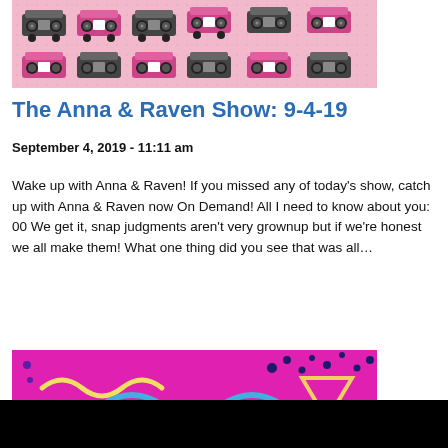[Figure (photo): Pink background with repeating boombox/radio illustrations arranged in a grid pattern]
The Anna & Raven Show: 9-4-19
September 4, 2019 - 11:11 am
Wake up with Anna & Raven! If you missed any of today's show, catch up with Anna & Raven now On Demand! All I need to know about you: 00 We get it, snap judgments aren't very grownup but if we're honest we all make them! What one thing did you see that was all…
[Figure (photo): Bright pink/magenta background with colorful wavy lines, geometric shapes, dots, and 'ANNA & RAVEN' text in green banner at bottom]